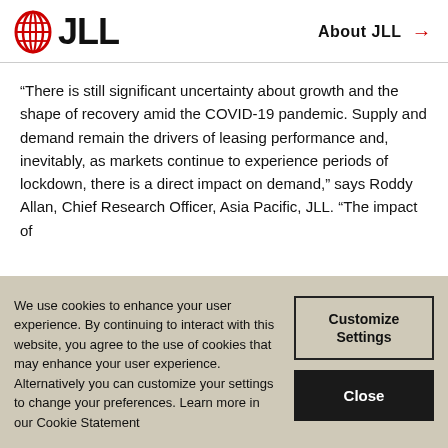JLL — About JLL →
“There is still significant uncertainty about growth and the shape of recovery amid the COVID-19 pandemic. Supply and demand remain the drivers of leasing performance and, inevitably, as markets continue to experience periods of lockdown, there is a direct impact on demand,” says Roddy Allan, Chief Research Officer, Asia Pacific, JLL. “The impact of
We use cookies to enhance your user experience. By continuing to interact with this website, you agree to the use of cookies that may enhance your user experience. Alternatively you can customize your settings to change your preferences. Learn more in our Cookie Statement
Customize Settings
Close